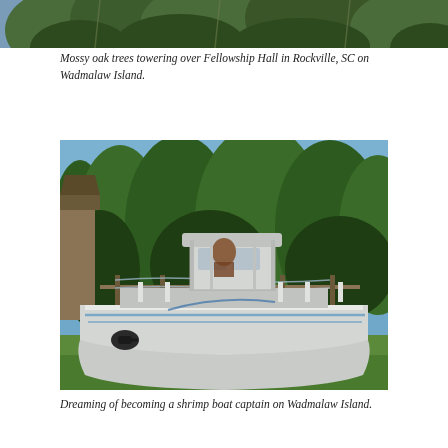[Figure (photo): Partial view of photo showing mossy oak trees towering over Fellowship Hall in Rockville, SC on Wadmalaw Island — only the bottom strip of the image is visible at the top of the page.]
Mossy oak trees towering over Fellowship Hall in Rockville, SC on Wadmalaw Island.
[Figure (photo): A white shrimp boat playhouse or replica boat sitting on grass outdoors, with a child inside the captain's area. Green trees visible in the background with a wooden fence. Located on Wadmalaw Island.]
Dreaming of becoming a shrimp boat captain on Wadmalaw Island.